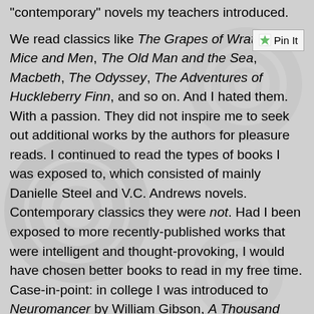"contemporary" novels my teachers introduced.
We read classics like The Grapes of Wrath, Of Mice and Men, The Old Man and the Sea, Macbeth, The Odyssey, The Adventures of Huckleberry Finn, and so on. And I hated them. With a passion. They did not inspire me to seek out additional works by the authors for pleasure reads. I continued to read the types of books I was exposed to, which consisted of mainly Danielle Steel and V.C. Andrews novels. Contemporary classics they were not. Had I been exposed to more recently-published works that were intelligent and thought-provoking, I would have chosen better books to read in my free time. Case-in-point: in college I was introduced to Neuromancer by William Gibson, A Thousand Acres by Jane Smiley, and Kurt Vonnegut, Jr.'s Slaughterhouse Five, which is still one of my all-time favorite books. I began reading more science-fiction (which I had never read before) and fell in love with contemporary authors like Amy Tan, Gwendolyn Brooks, and Maya Angelou.
Many teens are not ready to read the classics. Whether it's